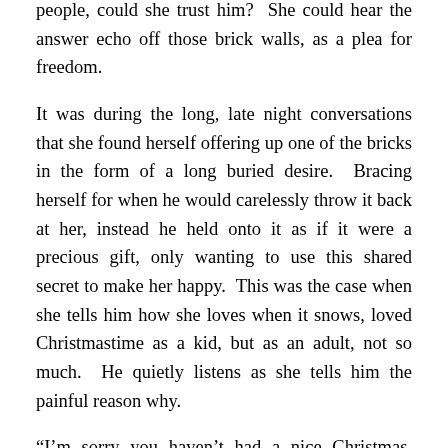people, could she trust him?  She could hear the answer echo off those brick walls, as a plea for freedom.
It was during the long, late night conversations that she found herself offering up one of the bricks in the form of a long buried desire.  Bracing herself for when he would carelessly throw it back at her, instead he held onto it as if it were a precious gift, only wanting to use this shared secret to make her happy.  This was the case when she tells him how she loves when it snows, loved Christmastime as a kid, but as an adult, not so much.  He quietly listens as she tells him the painful reason why.
“I'm sorry you haven't had a nice Christmas, Anya.”  He replies. “Christmas is my favorite time of year, it's when all seems right with the world.”
“It’s been awhile since I’ve felt that way,” she says.